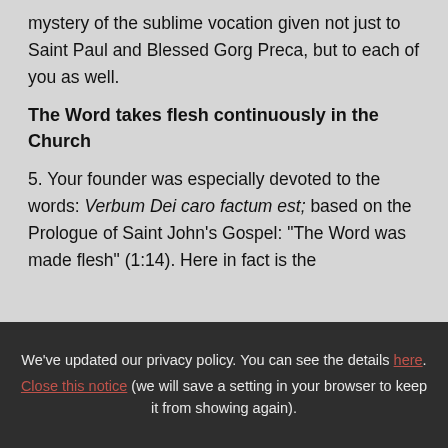mystery of the sublime vocation given not just to Saint Paul and Blessed Gorg Preca, but to each of you as well.
The Word takes flesh continuously in the Church
5. Your founder was especially devoted to the words: Verbum Dei caro factum est; based on the Prologue of Saint John's Gospel: "The Word was made flesh" (1:14). Here in fact is the
We've updated our privacy policy. You can see the details here.
Close this notice (we will save a setting in your browser to keep it from showing again).